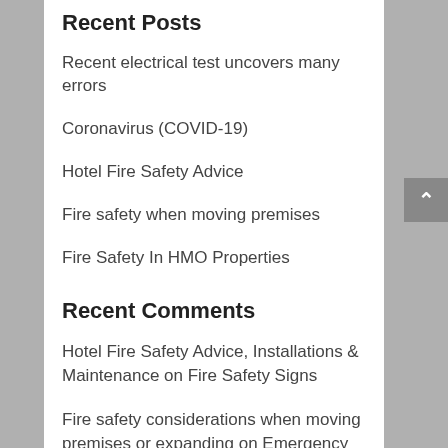Recent Posts
Recent electrical test uncovers many errors
Coronavirus (COVID-19)
Hotel Fire Safety Advice
Fire safety when moving premises
Fire Safety In HMO Properties
Recent Comments
Hotel Fire Safety Advice, Installations & Maintenance on Fire Safety Signs
Fire safety considerations when moving premises or expanding on Emergency lighting installation & maintenance
Fire safety considerations when moving premises or expanding on Fire Alarm Systems Cheltenham
Fire safety considerations when moving premises or expanding on Fire extinguishers supply, installation &